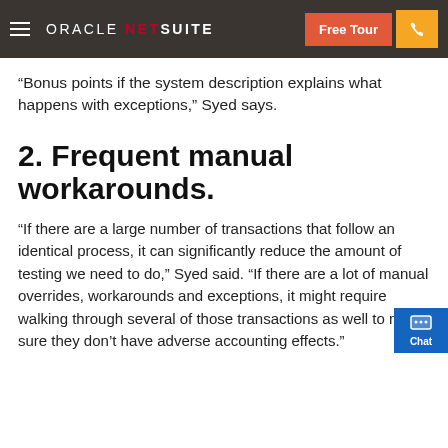ORACLE NETSUITE | Free Tour
“Bonus points if the system description explains what happens with exceptions,” Syed says.
2. Frequent manual workarounds.
“If there are a large number of transactions that follow an identical process, it can significantly reduce the amount of testing we need to do,” Syed said. “If there are a lot of manual overrides, workarounds and exceptions, it might require walking through several of those transactions as well to make sure they don’t have adverse accounting effects.”